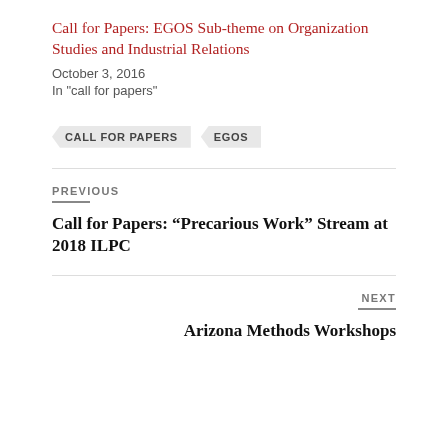Call for Papers: EGOS Sub-theme on Organization Studies and Industrial Relations
October 3, 2016
In "call for papers"
CALL FOR PAPERS   EGOS
PREVIOUS
Call for Papers: “Precarious Work” Stream at 2018 ILPC
NEXT
Arizona Methods Workshops